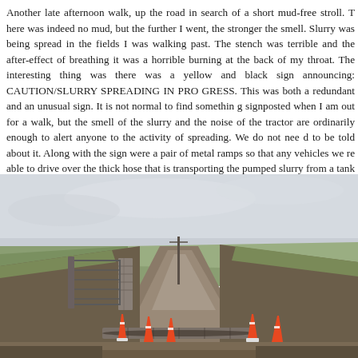Another late afternoon walk, up the road in search of a short mud-free stroll. There was indeed no mud, but the further I went, the stronger the smell. Slurry was being spread in the fields I was walking past. The stench was terrible and the after-effect of breathing it was a horrible burning at the back of my throat. The interesting thing was there was a yellow and black sign announcing: CAUTION/SLURRY SPREADING IN PROGRESS. This was both a redundant and an unusual sign. It is not normal to find something signposted when I am out for a walk, but the smell of the slurry and the noise of the tractor are ordinarily enough to alert anyone to the activity of spreading. We do not need to be told about it. Along with the sign were a pair of metal ramps so that any vehicles were able to drive over the thick hose that is transporting the pumped slurry from a tank to the tractor moving around out in the field.
[Figure (photo): A rural farm track or country lane with traffic cones and metal ramps laid across it. Stone walls and a metal gate are visible on the left side. Green fields are seen in the background under an overcast sky. The metal ramps are for vehicles to drive over a thick hose for slurry spreading.]